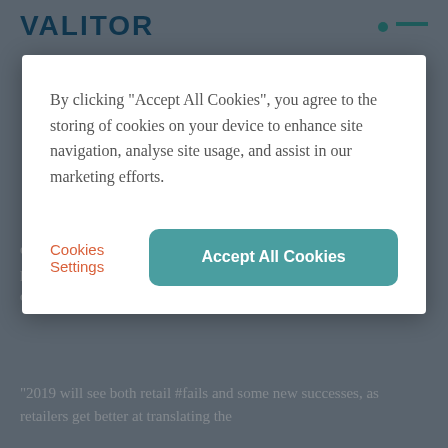[Figure (screenshot): Valitor website header with teal dot and menu icon, partially visible behind a cookie consent modal overlay]
By clicking “Accept All Cookies”, you agree to the storing of cookies on your device to enhance site navigation, analyse site usage, and assist in our marketing efforts.
Cookies Settings
Accept All Cookies
employees at that location. Retailers have to figure out how to turn personalisation insights into actions that store employees can deliver in a way that is not creepy.”
“2019 will see both retail #fails and some new successes, as retailers get better at translating the